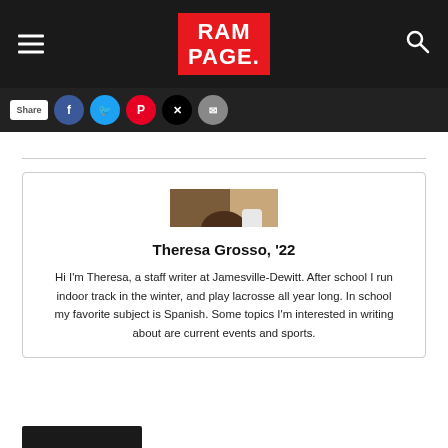RAMPAGE.
[Figure (photo): Profile photo of Theresa Grosso, a young woman with long brown hair wearing a blue shirt]
Theresa Grosso, '22
Hi I'm Theresa, a staff writer at Jamesville-Dewitt. After school I run indoor track in the winter, and play lacrosse all year long. In school my favorite subject is Spanish. Some topics I'm interested in writing about are current events and sports.